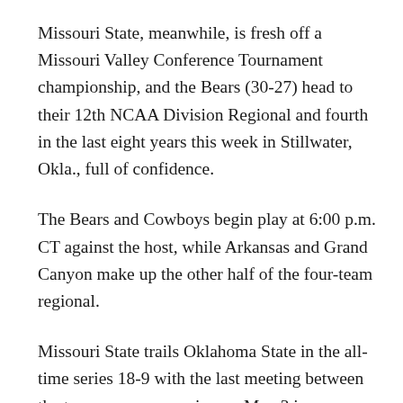Missouri State, meanwhile, is fresh off a Missouri Valley Conference Tournament championship, and the Bears (30-27) head to their 12th NCAA Division Regional and fourth in the last eight years this week in Stillwater, Okla., full of confidence.
The Bears and Cowboys begin play at 6:00 p.m. CT against the host, while Arkansas and Grand Canyon make up the other half of the four-team regional.
Missouri State trails Oklahoma State in the all-time series 18-9 with the last meeting between the two programs coming on May 3 in Stillwater. OSU won the matchup 5-1.